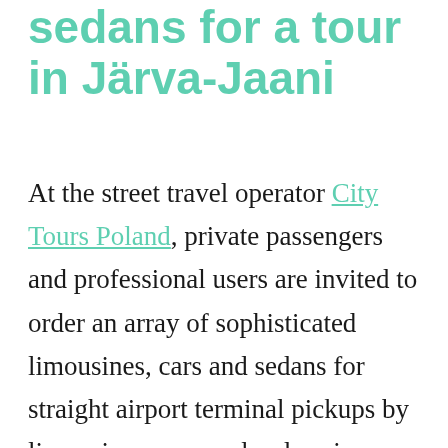sedans for a tour in Järva-Jaani
At the street travel operator City Tours Poland, private passengers and professional users are invited to order an array of sophisticated limousines, cars and sedans for straight airport terminal pickups by limousines, cars and sedans in